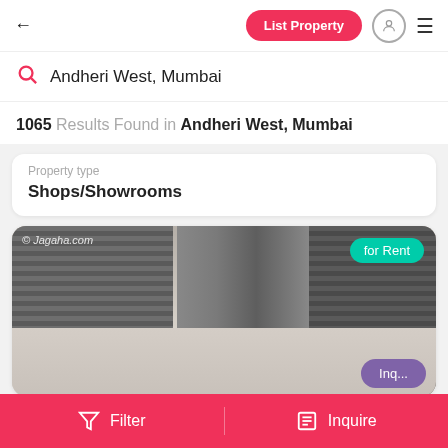← List Property
Andheri West, Mumbai
1065 Results Found in Andheri West, Mumbai
Property type
Shops/Showrooms
[Figure (photo): Interior photo of an empty commercial shop/showroom space with large metal roller shutters on the left and center, white walls, and a smooth tiled floor. Watermark: © Jagaha.com. Badge: for Rent]
Filter   Inquire